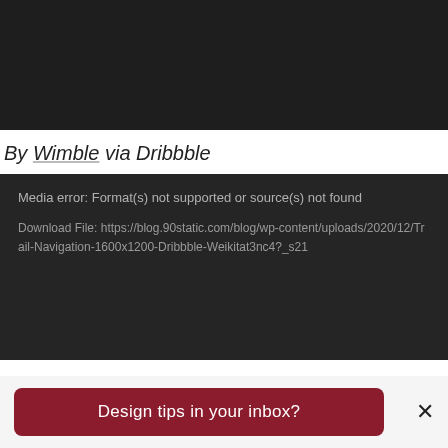[Figure (screenshot): Dark background top section of a webpage]
By Wimble via Dribbble
Media error: Format(s) not supported or source(s) not found
Download File: https://blog.90static.com/blog/wp-content/uploads/2020/12/Trail-Navigation-1600x1200-Dribbble-Weikitat3nc4?_s21
Design tips in your inbox?